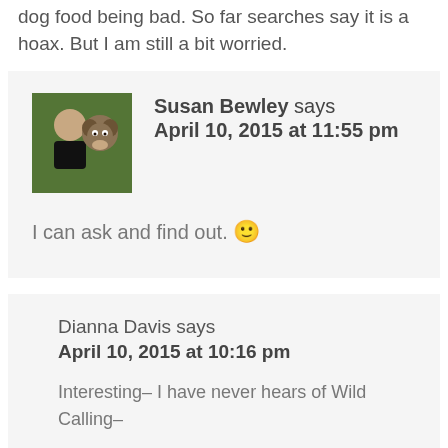dog food being bad. So far searches say it is a hoax. But I am still a bit worried.
Susan Bewley says
April 10, 2015 at 11:55 pm
I can ask and find out. 🙂
Dianna Davis says
April 10, 2015 at 10:16 pm
Interesting– I have never hears of Wild Calling–